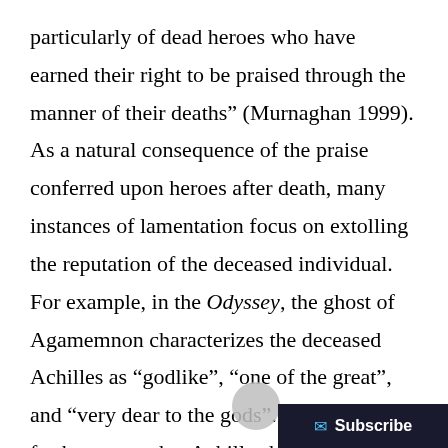particularly of dead heroes who have earned their right to be praised through the manner of their deaths” (Murnaghan 1999). As a natural consequence of the praise conferred upon heroes after death, many instances of lamentation focus on extolling the reputation of the deceased individual. For example, in the Odyssey, the ghost of Agamemnon characterizes the deceased Achilles as “godlike”, “one of the great”, and “very dear to the gods”. He even goes further to say that Achilles has “not lost [his] name  nor [his] honor among men” (Odyssey 24.38-110). This lamentation h